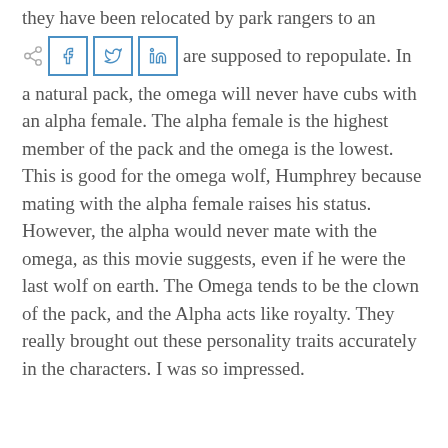they have been relocated by park rangers to an area they are supposed to repopulate. In a natural pack, the omega will never have cubs with an alpha female. The alpha female is the highest member of the pack and the omega is the lowest. This is good for the omega wolf, Humphrey because mating with the alpha female raises his status. However, the alpha would never mate with the omega, as this movie suggests, even if he were the last wolf on earth. The Omega tends to be the clown of the pack, and the Alpha acts like royalty. They really brought out these personality traits accurately in the characters. I was so impressed.